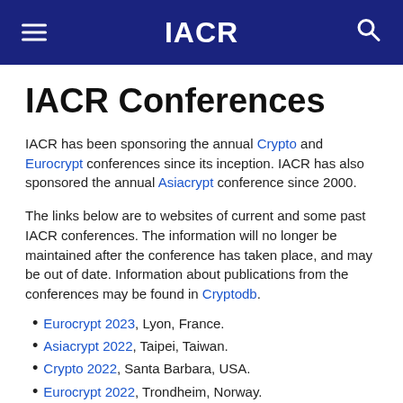IACR
IACR Conferences
IACR has been sponsoring the annual Crypto and Eurocrypt conferences since its inception. IACR has also sponsored the annual Asiacrypt conference since 2000.
The links below are to websites of current and some past IACR conferences. The information will no longer be maintained after the conference has taken place, and may be out of date. Information about publications from the conferences may be found in Cryptodb.
Eurocrypt 2023, Lyon, France.
Asiacrypt 2022, Taipei, Taiwan.
Crypto 2022, Santa Barbara, USA.
Eurocrypt 2022, Trondheim, Norway.